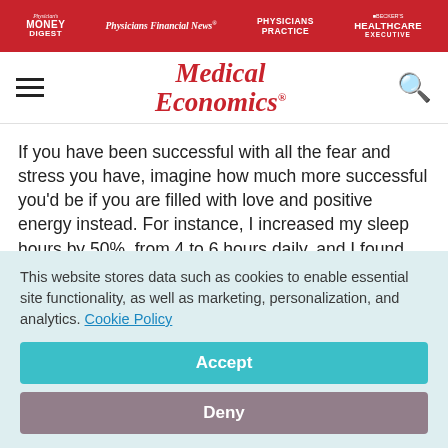Physician's Money Digest | Physicians Financial News | Physicians Practice | Becker's Healthcare Executive
[Figure (logo): Medical Economics logo in red italic serif font]
If you have been successful with all the fear and stress you have, imagine how much more successful you'd be if you are filled with love and positive energy instead. For instance, I increased my sleep hours by 50%, from 4 to 6 hours daily, and I found myself writing 3-5 articles in the same amount of time that I used to take for just 1 article.
This website stores data such as cookies to enable essential site functionality, as well as marketing, personalization, and analytics. Cookie Policy
Accept
Deny